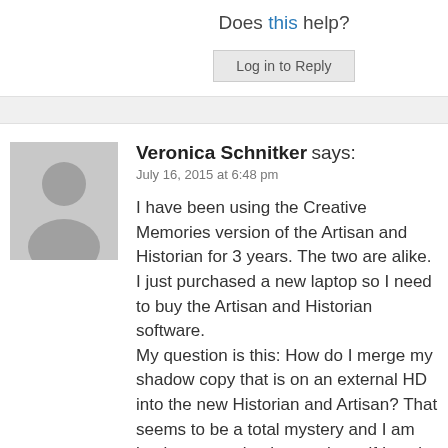Does this help?
Log in to Reply
Veronica Schnitker says:
July 16, 2015 at 6:48 pm
[Figure (illustration): Default avatar placeholder image — grey silhouette of a person on grey background]
I have been using the Creative Memories version of the Artisan and Historian for 3 years. The two are alike. I just purchased a new laptop so I need to buy the Artisan and Historian software.
My question is this: How do I merge my shadow copy that is on an external HD into the new Historian and Artisan? That seems to be a total mystery and I am hesitant to make the purchase if I can't have somebody help me merge my photos to the new software. Can